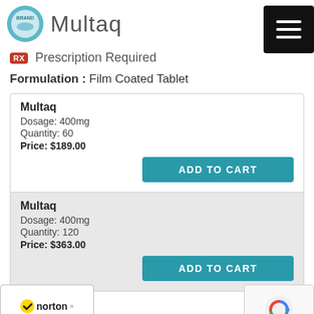Multaq
Prescription Required
Formulation : Film Coated Tablet
Multaq
Dosage: 400mg
Quantity: 60
Price: $189.00
ADD TO CART
Multaq
Dosage: 400mg
Quantity: 120
Price: $363.00
ADD TO CART